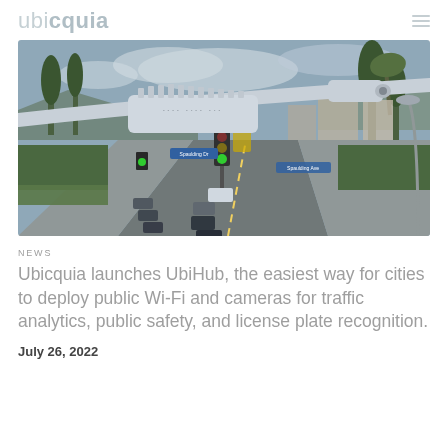ubicquia
[Figure (photo): Street-level photo of a city intersection with smart traffic cameras and sensor equipment mounted on a pole in the foreground. Blue street signs reading 'Spaulding Dr' and 'Spaulding Ave' visible with overlay bounding boxes. Cars, traffic lights, palm trees, and buildings visible in the background.]
NEWS
Ubicquia launches UbiHub, the easiest way for cities to deploy public Wi-Fi and cameras for traffic analytics, public safety, and license plate recognition.
July 26, 2022